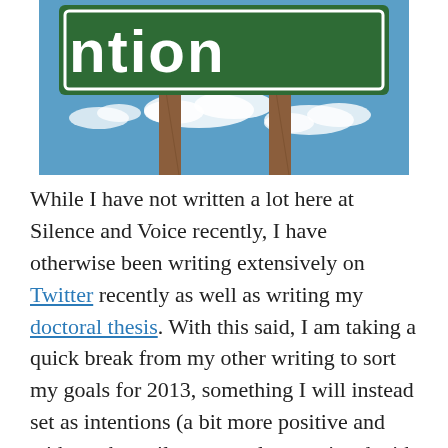[Figure (photo): A green road sign with white text reading 'intention' partially visible, set against a blue sky with white clouds and supported by wooden posts.]
While I have not written a lot here at Silence and Voice recently, I have otherwise been writing extensively on Twitter recently as well as writing my doctoral thesis. With this said, I am taking a quick break from my other writing to sort my goals for 2013, something I will instead set as intentions (a bit more positive and without the guilt commonly associated with settings goals seeing how tough these are to follow through on).
I am including things that are realistic and will